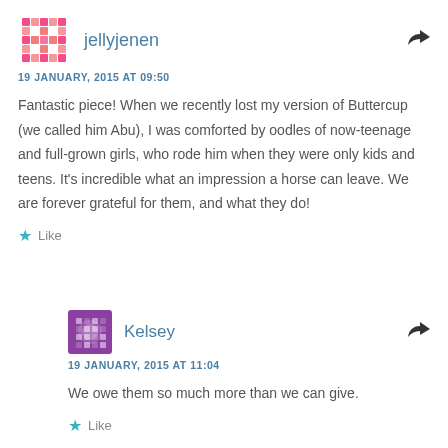jellyjenen
19 JANUARY, 2015 AT 09:50
Fantastic piece! When we recently lost my version of Buttercup (we called him Abu), I was comforted by oodles of now-teenage and full-grown girls, who rode him when they were only kids and teens. It's incredible what an impression a horse can leave. We are forever grateful for them, and what they do!
Like
Kelsey
19 JANUARY, 2015 AT 11:04
We owe them so much more than we can give.
Like